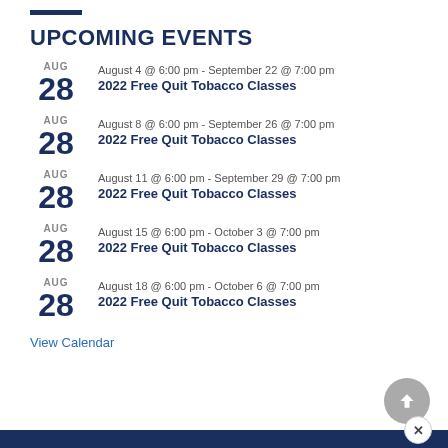UPCOMING EVENTS
AUG 28 | August 4 @ 6:00 pm - September 22 @ 7:00 pm | 2022 Free Quit Tobacco Classes
AUG 28 | August 8 @ 6:00 pm - September 26 @ 7:00 pm | 2022 Free Quit Tobacco Classes
AUG 28 | August 11 @ 6:00 pm - September 29 @ 7:00 pm | 2022 Free Quit Tobacco Classes
AUG 28 | August 15 @ 6:00 pm - October 3 @ 7:00 pm | 2022 Free Quit Tobacco Classes
AUG 28 | August 18 @ 6:00 pm - October 6 @ 7:00 pm | 2022 Free Quit Tobacco Classes
View Calendar